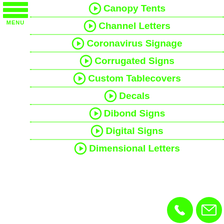[Figure (logo): Green hamburger menu icon with three horizontal bars and MENU label]
Canopy Tents
Channel Letters
Coronavirus Signage
Corrugated Signs
Custom Tablecovers
Decals
Dibond Signs
Digital Signs
Dimensional Letters
[Figure (illustration): Green circular phone icon button]